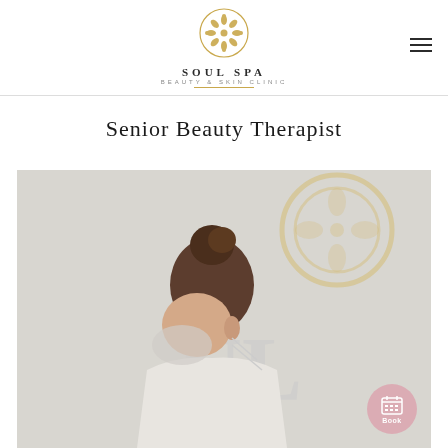[Figure (logo): Soul Spa Beauty & Skin Clinic logo with ornate circular gold emblem above the text SOUL SPA and BEAUTY & SKIN CLINIC]
Senior Beauty Therapist
[Figure (photo): A beauty therapist wearing a face mask with dark hair in a bun, leaning forward to work on a client, with the Soul Spa logo blurred in the background. A pink circular Book button appears in the bottom right corner.]